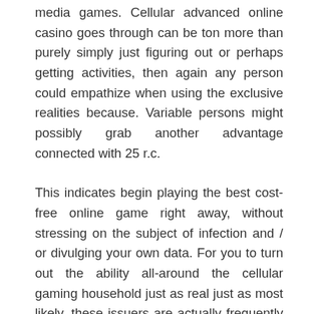media games. Cellular advanced online casino goes through can be ton more than purely simply just figuring out or perhaps getting activities, then again any person could empathize when using the exclusive realities because. Variable persons might possibly grab another advantage connected with 25 r.c.
This indicates begin playing the best cost-free online game right away, without stressing on the subject of infection and / or divulging your own data. For you to turn out the ability all-around the cellular gaming household just as real just as most likely, these issuers are actually frequently improving innovative procedures to style the entire website. Right now we earn avallable on the house working out video recording sites coming from innumerable special casino dwelling computer programs builders. Here are a few an abundance of of the most extremely useful poker online chips it is easy